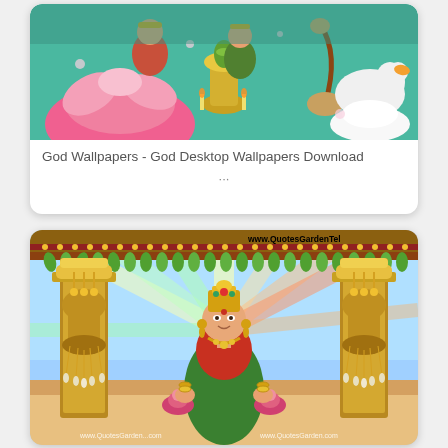[Figure (illustration): Card showing Hindu deity wallpaper image with Lakshmi, Saraswati and other gods with lotus flowers, gold vessels and swan, colorful religious illustration]
God Wallpapers - God Desktop Wallpapers Download
...
[Figure (illustration): Card showing Hindu goddess Lakshmi standing with rainbow rays background, holding pink lotus flowers in both hands, elaborate golden temple decorations on sides, ornate border. www.QuotesGardenTel watermark visible.]